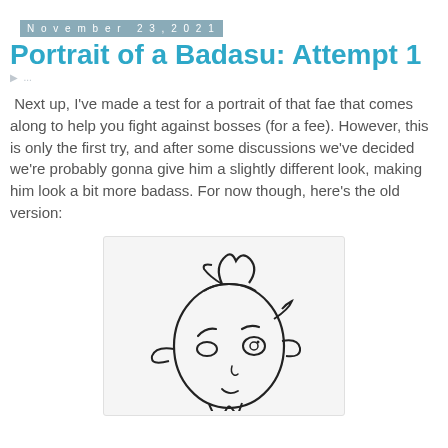November 23, 2021
Portrait of a Badasu: Attempt 1
Next up, I've made a test for a portrait of that fae that comes along to help you fight against bosses (for a fee). However, this is only the first try, and after some discussions we've decided we're probably gonna give him a slightly different look, making him look a bit more badass. For now though, here's the old version:
[Figure (illustration): A pencil sketch / line drawing of a cartoon fae character's face, shown in slight three-quarter view. The character has a round head, pointed ears, stylized hair swept up, arched eyebrow, large eyes, a small nose, a subtle smile, and a chin point. The drawing is black line art on white background.]